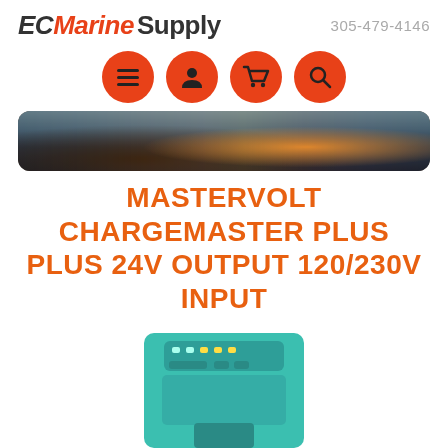EC Marine Supply  305-479-4146
[Figure (logo): EC Marine Supply logo with orange EC italic text and black Marine Supply text]
[Figure (infographic): Four orange circular navigation icons: hamburger menu, user/person, shopping cart, search magnifier]
[Figure (photo): Wide panoramic banner photo of ocean sunset with dramatic clouds and orange/golden sky]
MASTERVOLT CHARGEMASTER PLUS PLUS 24V OUTPUT 120/230V INPUT
[Figure (photo): Mastervolt ChargeMaster Plus battery charger unit in teal/turquoise color with control panel]